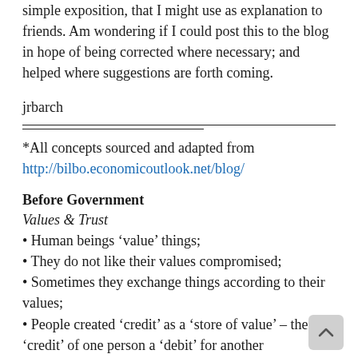simple exposition, that I might use as explanation to friends. Am wondering if I could post this to the blog in hope of being corrected where necessary; and helped where suggestions are forth coming.
jrbarch
*All concepts sourced and adapted from http://bilbo.economicoutlook.net/blog/
Before Government
Values & Trust
• Human beings 'value' things;
• They do not like their values compromised;
• Sometimes they exchange things according to their values;
• People created 'credit' as a 'store of value' – the 'credit' of one person a 'debit' for another
• When human beings respect each other, values and